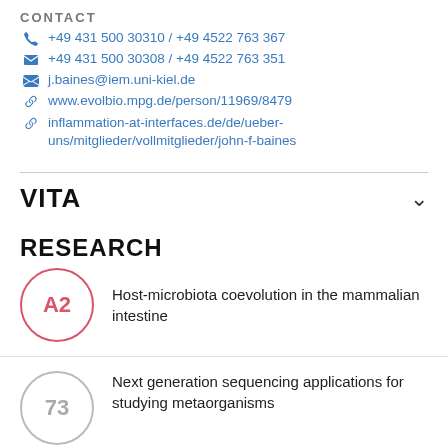CONTACT
+49 431 500 30310 / +49 4522 763 367
+49 431 500 30308 / +49 4522 763 351
j.baines@iem.uni-kiel.de
www.evolbio.mpg.de/person/11969/8479
inflammation-at-interfaces.de/de/ueber-uns/mitglieder/vollmitglieder/john-f-baines
VITA
RESEARCH
A2  Host-microbiota coevolution in the mammalian intestine
73  Next generation sequencing applications for studying metaorganisms